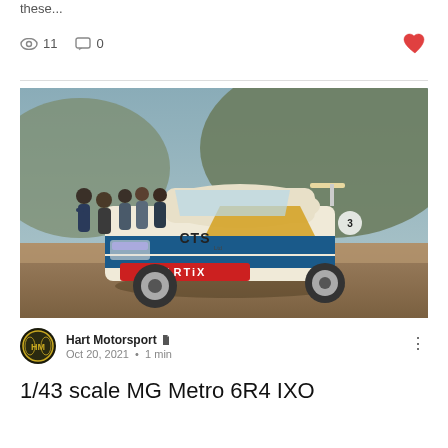these...
11 views  0 comments
[Figure (photo): Rally car (MG Metro 6R4 with CTS and ARTIX livery) on a gravel stage with spectators in the background]
Hart Motorsport  Oct 20, 2021  •  1 min
1/43 scale MG Metro 6R4 IXO